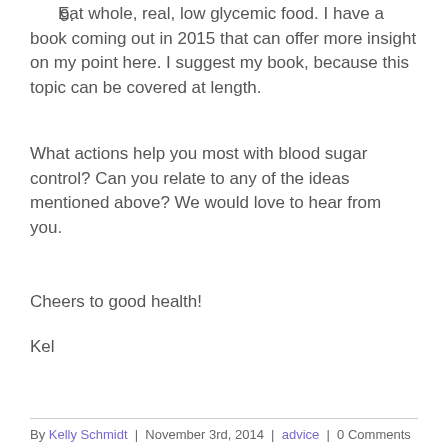9. Eat whole, real, low glycemic food. I have a book coming out in 2015 that can offer more insight on my point here. I suggest my book, because this topic can be covered at length.
What actions help you most with blood sugar control? Can you relate to any of the ideas mentioned above? We would love to hear from you.
Cheers to good health!
Kel
By Kelly Schmidt | November 3rd, 2014 | advice | 0 Comments